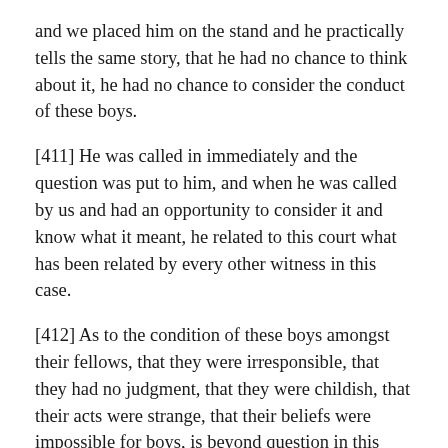and we placed him on the stand and he practically tells the same story, that he had no chance to think about it, he had no chance to consider the conduct of these boys.
[411] He was called in immediately and the question was put to him, and when he was called by us and had an opportunity to consider it and know what it meant, he related to this court what has been related by every other witness in this case.
[412] As to the condition of these boys amongst their fellows, that they were irresponsible, that they had no judgment, that they were childish, that their acts were strange, that their beliefs were impossible for boys, is beyond question in this case.
[413] And what did they do on the other side? It was given out that they had a vast array of witnesses. They called three. A professor who talked with them